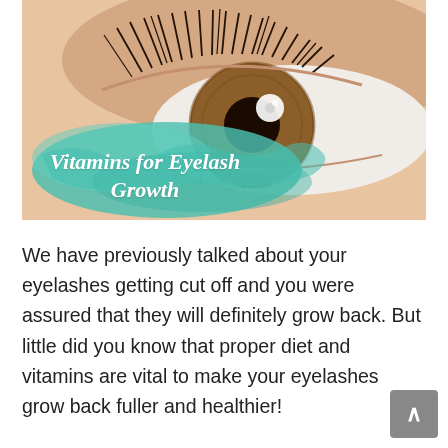[Figure (photo): Close-up photograph of a human eye with long dark eyelashes. The iris is amber/brown. A teal/turquoise watercolor paint splash overlays the lower-left portion of the image with overlaid text reading 'Vitamins for Eyelash Growth'.]
Vitamins for Eyelash Growth
We have previously talked about your eyelashes getting cut off and you were assured that they will definitely grow back. But little did you know that proper diet and vitamins are vital to make your eyelashes grow back fuller and healthier!